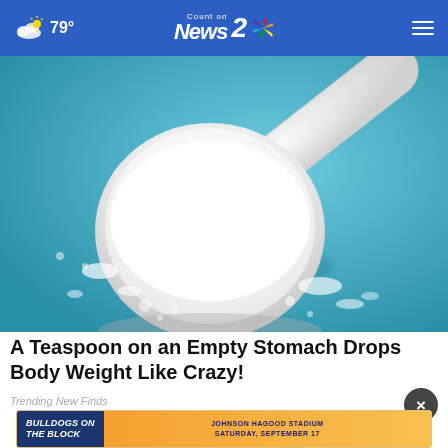79° Count on News 2 NBC
[Figure (photo): A white measuring scoop filled with white powder on a blue background, with powder spilled around it.]
A Teaspoon on an Empty Stomach Drops Body Weight Like Crazy!
Trending New Finds
[Figure (other): Advertisement banner: BULLDOGS ON THE BLOCK - JOHNSON HAGOOD STADIUM SATURDAY, SEPTEMBER 17]